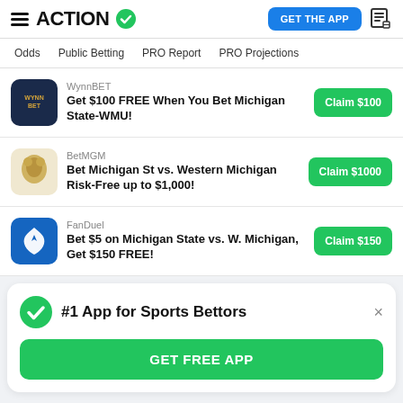ACTION (logo with checkmark) | GET THE APP
Odds | Public Betting | PRO Report | PRO Projections
WynnBET
Get $100 FREE When You Bet Michigan State-WMU!
BetMGM
Bet Michigan St vs. Western Michigan Risk-Free up to $1,000!
FanDuel
Bet $5 on Michigan State vs. W. Michigan, Get $150 FREE!
#1 App for Sports Bettors
GET FREE APP